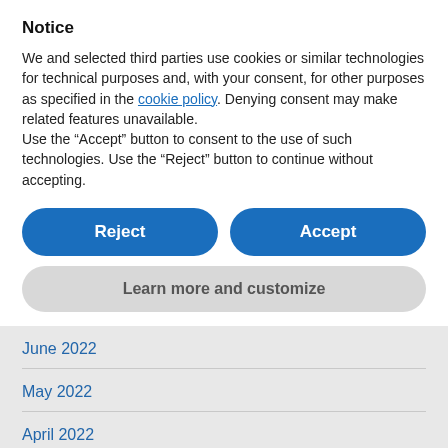Notice
We and selected third parties use cookies or similar technologies for technical purposes and, with your consent, for other purposes as specified in the cookie policy. Denying consent may make related features unavailable.
Use the “Accept” button to consent to the use of such technologies. Use the “Reject” button to continue without accepting.
Reject
Accept
Learn more and customize
June 2022
May 2022
April 2022
March 2022